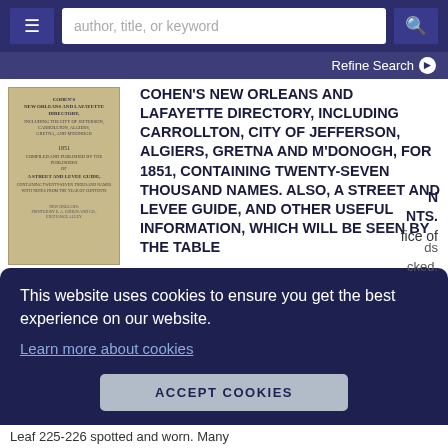author, title, or keyword
Refine Search
[Figure (photo): Book cover image of Cohen's New Orleans and Lafayette Directory]
COHEN'S NEW ORLEANS AND LAFAYETTE DIRECTORY, INCLUDING CARROLLTON, CITY OF JEFFERSON, ALGIERS, GRETNA AND M'DONOGH, FOR 1851, CONTAINING TWENTY-SEVEN THOUSAND NAMES. ALSO, A STREET AND LEVEE GUIDE, AND OTHER USEFUL INFORMATION, WHICH WILL BE SEEN BY THE TABLE
This website uses cookies to ensure you get the best experience on our website.
Learn more about cookies
ACCEPT COOKIES
Leaf 225-226 spotted and worn. Many